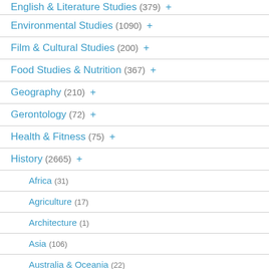English & Literature Studies (379) +
Environmental Studies (1090) +
Film & Cultural Studies (200) +
Food Studies & Nutrition (367) +
Geography (210) +
Gerontology (72) +
Health & Fitness (75) +
History (2665) +
Africa (31)
Agriculture (17)
Architecture (1)
Asia (106)
Australia & Oceania (22)
British Columbia (21) +
Canada (123)
Canadian History (1441) +
African Canadian (70)